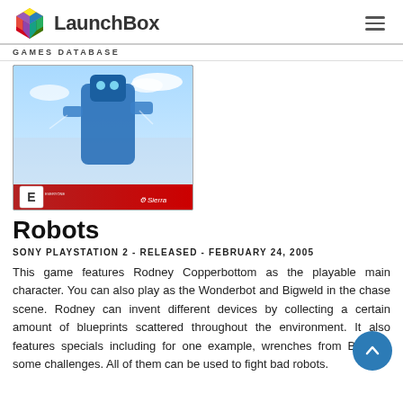LaunchBox GAMES DATABASE
[Figure (photo): Robots video game cover art showing a blue robot character in action with Sierra logo and ESRB E rating]
Robots
SONY PLAYSTATION 2 - RELEASED - FEBRUARY 24, 2005
This game features Rodney Copperbottom as the playable main character. You can also play as the Wonderbot and Bigweld in the chase scene. Rodney can invent different devices by collecting a certain amount of blueprints scattered throughout the environment. It also features specials including for one example, wrenches from Big and some challenges. All of them can be used to fight bad robots.